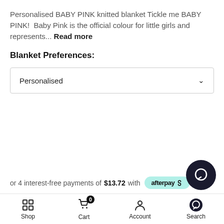Personalised BABY PINK knitted blanket Tickle me BABY PINK!  Baby Pink is the official colour for little girls and represents... Read more
Blanket Preferences:
Personalised
or 4 interest-free payments of $13.72 with afterpay
Shop  Cart  Account  Search